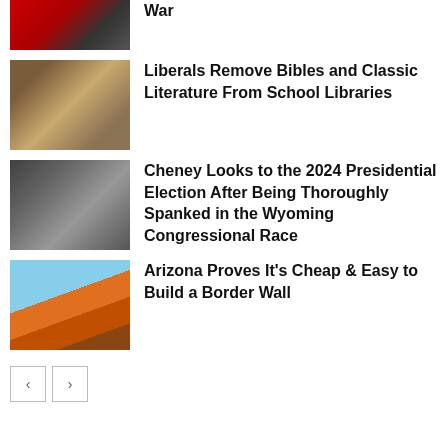[Figure (photo): Partial view of persons, cropped at top]
War
[Figure (photo): Person in a library with bookshelves in background]
Liberals Remove Bibles and Classic Literature From School Libraries
[Figure (photo): Group of people at a press conference with microphones]
Cheney Looks to the 2024 Presidential Election After Being Thoroughly Spanked in the Wyoming Congressional Race
[Figure (photo): Stacked shipping containers forming a border wall under blue sky]
Arizona Proves It's Cheap & Easy to Build a Border Wall